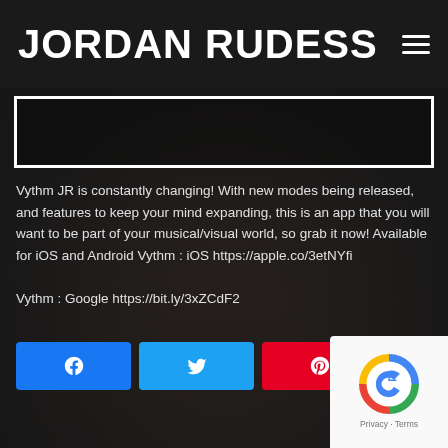JORDAN RUDESS
Vythm JR is constantly changing! With new modes being released, and features to keep your mind expanding, this is an app that you will want to be part of your musical/visual world, so grab it now! Available for iOS and Android Vythm : iOS https://apple.co/3etNYfi Vythm : Google https://bit.ly/3xZCdF2
[Figure (screenshot): Social share buttons: Facebook (blue), Twitter (light blue), Pinterest (red), and a share count showing 0 SHARES]
[Figure (logo): Google reCAPTCHA badge with Privacy and Terms links]